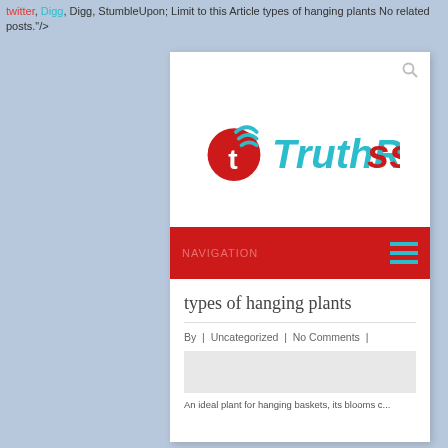twitter, Digg, Digg, StumbleUpon; Limit to this Article types of hanging plants No related posts."/>
[Figure (screenshot): Screenshot of TruthRss website showing logo with red circle and cyan RSS waves, red navigation bar, article title 'types of hanging plants', meta line 'By | Uncategorized | No Comments |', and a thumbnail image area.]